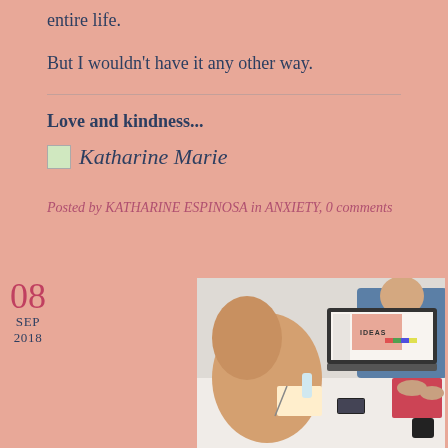entire life.
But I wouldn’t have it any other way.
Love and kindness...
[Figure (illustration): Signature image placeholder followed by handwritten-style text 'Katharine Marie']
Posted by KATHARINE ESPINOSA in ANXIETY, 0 comments
08 SEP 2018
[Figure (photo): Photo of a person at a meeting table with a laptop showing a design with the word IDEAS on screen, other people visible in background]